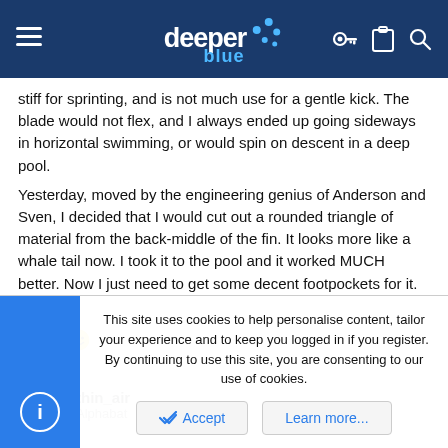deeper blue
stiff for sprinting, and is not much use for a gentle kick. The blade would not flex, and I always ended up going sideways in horizontal swimming, or would spin on descent in a deep pool.
Yesterday, moved by the engineering genius of Anderson and Sven, I decided that I would cut out a rounded triangle of material from the back-middle of the fin. It looks more like a whale tail now. I took it to the pool and it worked MUCH better. Now I just need to get some decent footpockets for it.
Cheers,
Erik Y. 🙂
thin_air
This site uses cookies to help personalise content, tailor your experience and to keep you logged in if you register.
By continuing to use this site, you are consenting to our use of cookies.